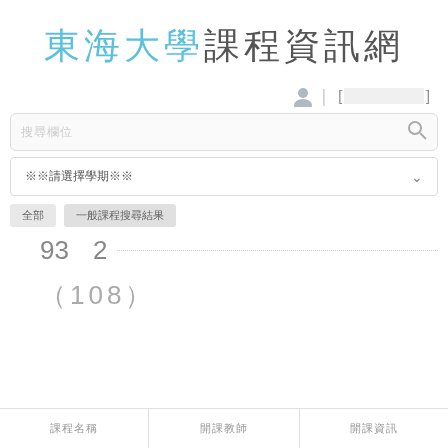東海大學課程資訊網
[ ]
搜尋欄位
※※請選擇學期※※
全部 | 一般課程搜尋結果
93  2
（108）
| 課程名稱 | 開課教師 | 開課資訊 |
| --- | --- | --- |